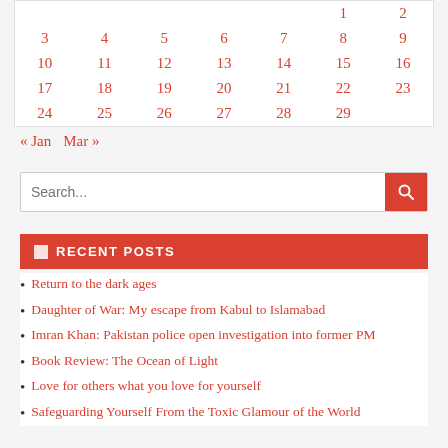|  |  |  |  |  | 1 | 2 |
| 3 | 4 | 5 | 6 | 7 | 8 | 9 |
| 10 | 11 | 12 | 13 | 14 | 15 | 16 |
| 17 | 18 | 19 | 20 | 21 | 22 | 23 |
| 24 | 25 | 26 | 27 | 28 | 29 |  |
« Jan   Mar »
Search...
RECENT POSTS
Return to the dark ages
Daughter of War: My escape from Kabul to Islamabad
Imran Khan: Pakistan police open investigation into former PM
Book Review: The Ocean of Light
Love for others what you love for yourself
Safeguarding Yourself From the Toxic Glamour of the World